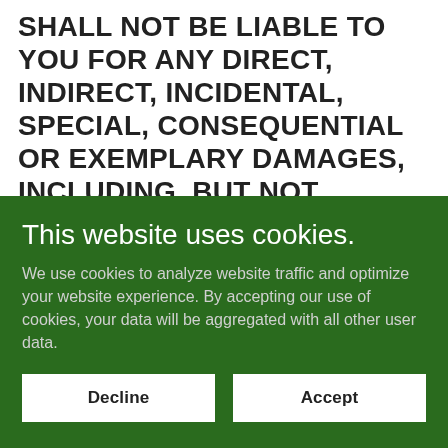SHALL NOT BE LIABLE TO YOU FOR ANY DIRECT, INDIRECT, INCIDENTAL, SPECIAL, CONSEQUENTIAL OR EXEMPLARY DAMAGES, INCLUDING, BUT NOT LIMITED TO, DAMAGES FOR LOSS OF PROFITS, GOODWILL, USE, DATA (INCLUDING...
This website uses cookies.
We use cookies to analyze website traffic and optimize your website experience. By accepting our use of cookies, your data will be aggregated with all other user data.
Decline
Accept